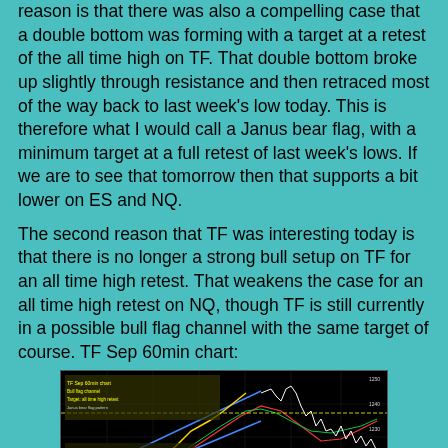reason is that there was also a compelling case that a double bottom was forming with a target at a retest of the all time high on TF. That double bottom broke up slightly through resistance and then retraced most of the way back to last week's low today. This is therefore what I would call a Janus bear flag, with a minimum target at a full retest of last week's lows. If we are to see that tomorrow then that supports a bit lower on ES and NQ.
The second reason that TF was interesting today is that there is no longer a strong bull setup on TF for an all time high retest. That weakens the case for an all time high retest on NQ, though TF is still currently in a possible bull flag channel with the same target of course. TF Sep 60min chart:
[Figure (continuous-plot): TF Sep 60min chart showing price action with bull flag channel, trendlines, candlestick chart on black background with 'The Art of Chart' watermark/logo]
Is there a possibility that the indices break down directly from here? Unlikely but I'd still put the odds of that at 20%. If that